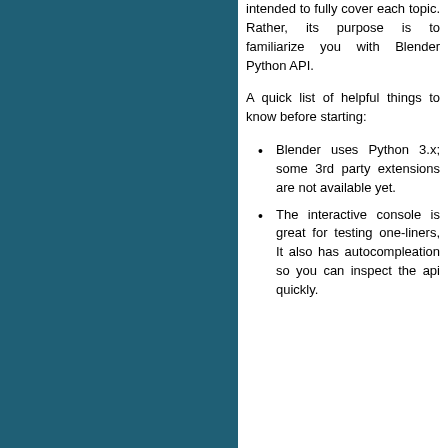intended to fully cover each topic. Rather, its purpose is to familiarize you with Blender Python API.
A quick list of helpful things to know before starting:
Blender uses Python 3.x; some 3rd party extensions are not available yet.
The interactive console is great for testing one-liners, It also has autocompleation so you can inspect the api quickly.